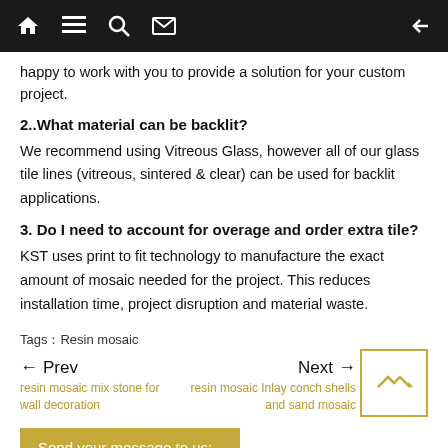Navigation bar with home, list, search, mail icons and back arrow
happy to work with you to provide a solution for your custom project.
2..What material can be backlit?
We recommend using Vitreous Glass, however all of our glass tile lines (vitreous, sintered & clear) can be used for backlit applications.
3. Do I need to account for overage and order extra tile?
KST uses print to fit technology to manufacture the exact amount of mosaic needed for the project. This reduces installation time, project disruption and material waste.
Tags: Resin mosaic
← Prev | resin mosaic mix stone for wall decoration | Next → | resin mosaic Inlay conch shells and sand mosaic
Send your message to us: